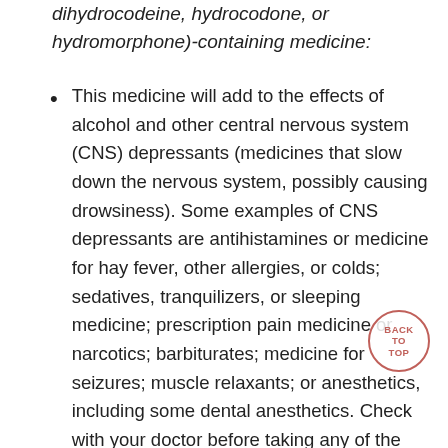dihydrocodeine, hydrocodone, or hydromorphone)-containing medicine:
This medicine will add to the effects of alcohol and other central nervous system (CNS) depressants (medicines that slow down the nervous system, possibly causing drowsiness). Some examples of CNS depressants are antihistamines or medicine for hay fever, other allergies, or colds; sedatives, tranquilizers, or sleeping medicine; prescription pain medicine or narcotics; barbiturates; medicine for seizures; muscle relaxants; or anesthetics, including some dental anesthetics. Check with your doctor before taking any of the above while you are